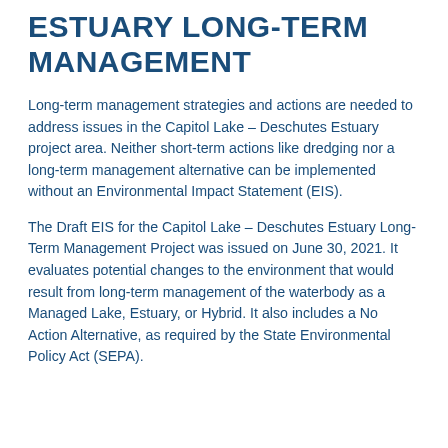ESTUARY LONG-TERM MANAGEMENT
Long-term management strategies and actions are needed to address issues in the Capitol Lake – Deschutes Estuary project area. Neither short-term actions like dredging nor a long-term management alternative can be implemented without an Environmental Impact Statement (EIS).
The Draft EIS for the Capitol Lake – Deschutes Estuary Long-Term Management Project was issued on June 30, 2021. It evaluates potential changes to the environment that would result from long-term management of the waterbody as a Managed Lake, Estuary, or Hybrid. It also includes a No Action Alternative, as required by the State Environmental Policy Act (SEPA).